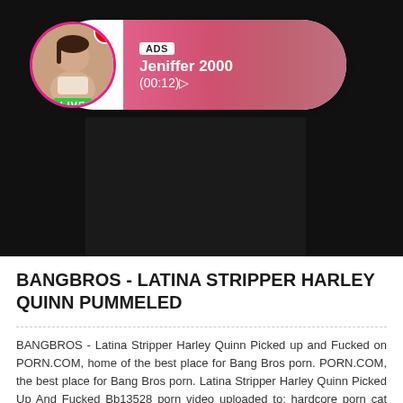[Figure (screenshot): Ad overlay card showing a profile photo with LIVE badge, ADS label, username Jeniffer 2000, and timer (00:12), on a dark video player background]
BANGBROS - LATINA STRIPPER HARLEY QUINN PUMMELED
BANGBROS - Latina Stripper Harley Quinn Picked up and Fucked on PORN.COM, home of the best place for Bang Bros porn. PORN.COM, the best place for Bang Bros porn. Latina Stripper Harley Quinn Picked Up And Fucked Bb13528 porn video uploaded to: hardcore porn cat porn BANGBROS Latina Maid Abby Lee Brazil Gets Nab